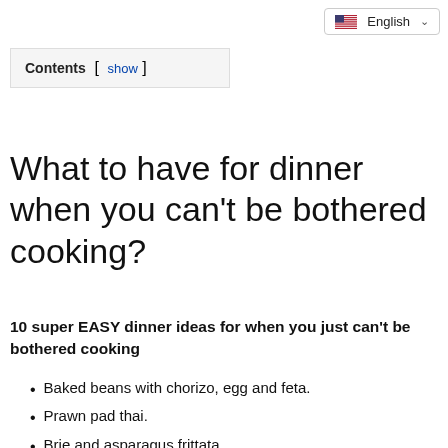English
Contents [ show ]
What to have for dinner when you can't be bothered cooking?
10 super EASY dinner ideas for when you just can't be bothered cooking
Baked beans with chorizo, egg and feta.
Prawn pad thai.
Brie and asparagus frittata.